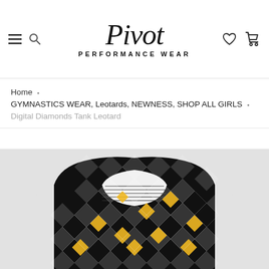Pivot Performance Wear
Home • GYMNASTICS WEAR, Leotards, NEWNESS, SHOP ALL GIRLS • Digital Diamonds Tank Leotard
[Figure (photo): A gymnastics tank leotard with black and white diamond/argyle pattern and gold/yellow diamond accents, shown from the back, displayed against a light gray background.]